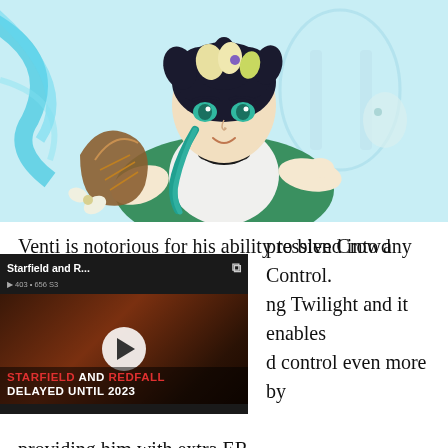[Figure (illustration): Anime-style illustration of Venti from Genshin Impact, a character with dark hair, teal eyes, flower crown, green cape, black bow tie, and a lyre/harp instrument. Teal and light blue background.]
Venti is notorious for his ability to blend into any [video overlay covers part] pressive Crowd Control. [partial] ng Twilight and it enables [partial] d control even more by providing him with extra ER.
[Figure (screenshot): Video overlay: Starfield and R... title with play button. Caption reads: STARFIELD AND REDFALL DELAYED UNTIL 2023]
Apart from the CC, Venti utilizes the bow's